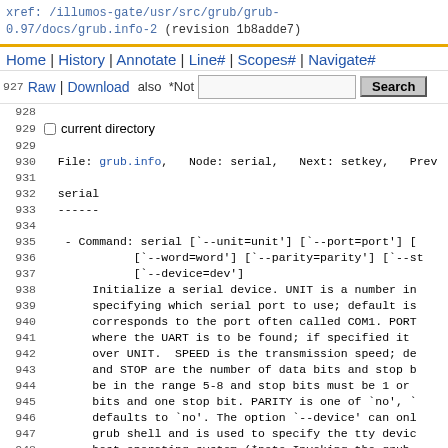xref: /illumos-gate/usr/src/grub/grub-0.97/docs/grub.info-2 (revision 1b8adde7)
Home | History | Annotate | Line# | Scopes# | Navigate#
927 | Raw | Download  also *Not  [search box] Search
928
current directory
929
930  File: grub.info,  Node: serial,  Next: setkey,  Prev
931
932  serial
933  ------
934
935   - Command: serial [`--unit=unit'] [`--port=port'] [
936              [`--word=word'] [`--parity=parity'] [`--st
937              [`--device=dev']
938       Initialize a serial device. UNIT is a number in
939       specifying which serial port to use; default is
940       corresponds to the port often called COM1. PORT
941       where the UART is to be found; if specified it
942       over UNIT.  SPEED is the transmission speed; de
943       and STOP are the number of data bits and stop b
944       be in the range 5-8 and stop bits must be 1 or
945       bits and one stop bit. PARITY is one of `no', `
946       defaults to `no'. The option `--device' can onl
947       grub shell and is used to specify the tty devic
948       host operating system (*note Invoking the grub
949
950       The serial port is not used as a communication
951       `terminal' command is used (*note terminal::).